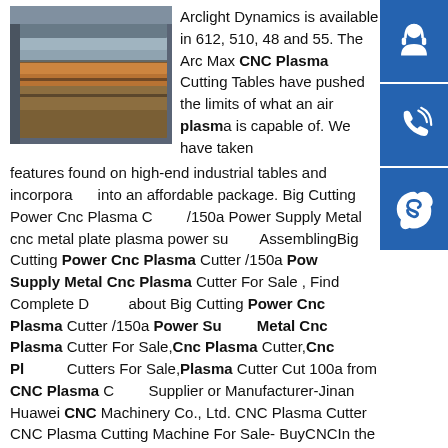[Figure (photo): Industrial metal plates/sheets stacked on a factory floor, brownish-orange and grey steel plates visible.]
Arclight Dynamics is available in 612, 510, 48 and 55. The Arc Max CNC Plasma Cutting Tables have pushed the limits of what an air plasma is capable of. We have taken features found on high-end industrial tables and incorporated into an affordable package. Big Cutting Power Cnc Plasma Cutter /150a Power Supply Metal cnc metal plate plasma power supply AssemblingBig Cutting Power Cnc Plasma Cutter /150a Power Supply Metal Cnc Plasma Cutter For Sale , Find Complete Details about Big Cutting Power Cnc Plasma Cutter /150a Power Supply Metal Cnc Plasma Cutter For Sale,Cnc Plasma Cutter,Cnc Plasma Cutters For Sale,Plasma Cutter Cut 100a from CNC Plasma Cutter Supplier or Manufacturer-Jinan Huawei CNC Machinery Co., Ltd. CNC Plasma Cutter CNC Plasma Cutting Machine For Sale- BuyCNCIn the actual use and operation of CNC plasma cutting tables, due to the brand of plasma power supply, power of plasma power supply, consumables such as cutting gun and cutting nozzle electrode of plasma power supply, as well as the thickness of metal plate, it also includes various plasma arc cutting process parameters, which
directly affect the stability, cutting quality and effect of cutting